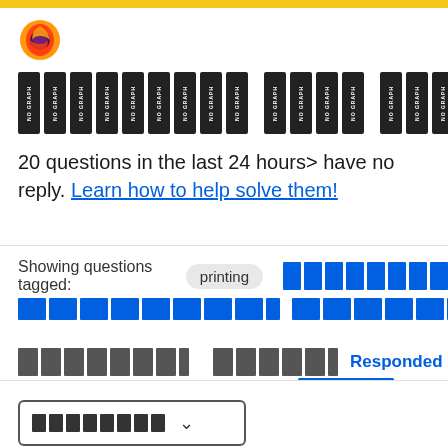[Figure (logo): Firefox browser logo — orange and purple flame circle]
[Figure (other): Row of vertical redacted/placeholder blocks labeled NO GRAPH]
20 questions in the last 24 hours> have no reply. Learn how to help solve them!
Showing questions tagged: printing
[Figure (other): Row of blue horizontal redacted blocks]
[Figure (other): Long row of blue horizontal redacted blocks]
[Figure (other): Dark redacted blocks with Responded and More navigation tabs]
[Figure (other): Dropdown selector with dark redacted label and chevron]